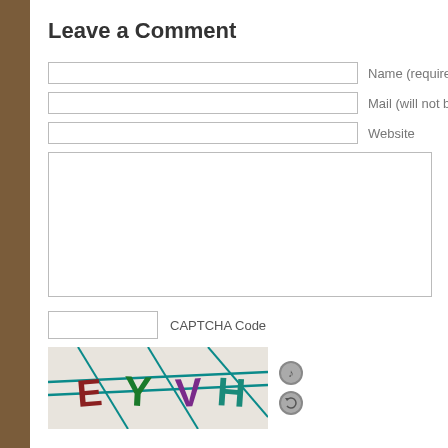Leave a Comment
Name (required)
Mail (will not be published)
Website
CAPTCHA Code
[Figure (other): CAPTCHA image showing letters E Y V H with colorful diagonal lines across a textured background, with two small circular icons (audio and refresh) to the right]